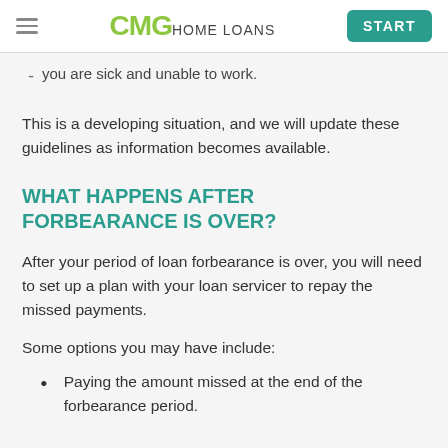CMG HOME LOANS | START
you are sick and unable to work.
This is a developing situation, and we will update these guidelines as information becomes available.
WHAT HAPPENS AFTER FORBEARANCE IS OVER?
After your period of loan forbearance is over, you will need to set up a plan with your loan servicer to repay the missed payments.
Some options you may have include:
Paying the amount missed at the end of the forbearance period.